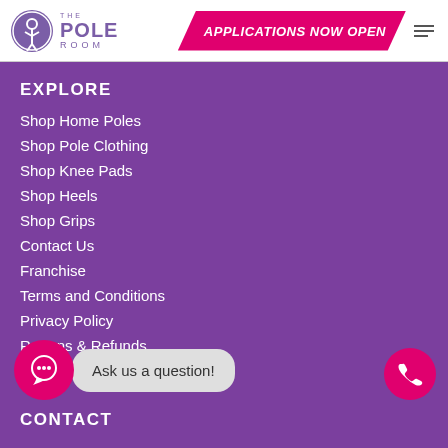[Figure (logo): The Pole Room logo with circular emblem and text]
APPLICATIONS NOW OPEN
EXPLORE
Shop Home Poles
Shop Pole Clothing
Shop Knee Pads
Shop Heels
Shop Grips
Contact Us
Franchise
Terms and Conditions
Privacy Policy
Returns & Refunds
Ask us a question!
CONTACT